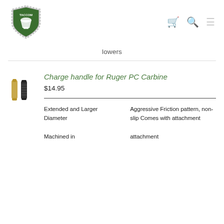[Figure (logo): TACCOM shield logo with green background and rope border]
lowers
[Figure (photo): Two charge handle parts: one gold/brass colored cylindrical piece and one black piece]
Charge handle for Ruger PC Carbine
$14.95
Extended and Larger Diameter
Aggressive Friction pattern, non-slip Comes with attachment
Machined in
attachment